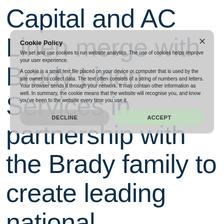Capital and AC Linen merge with Brady Linen Services in partnership with the Brady family to create leading national competitor
Cookie Policy
We set and use cookies to run website analytics. The use of cookies helps improve your user experience.
A cookie is a small text file placed on your device or computer that is used by the site owner to collect data. The text often consists of a string of numbers and letters. Your browser sends it through your network. It may contain other information as well. In summary, the cookie means that the website will recognise you, and know you've been to the website every time you use it.
DECLINE
ACCEPT